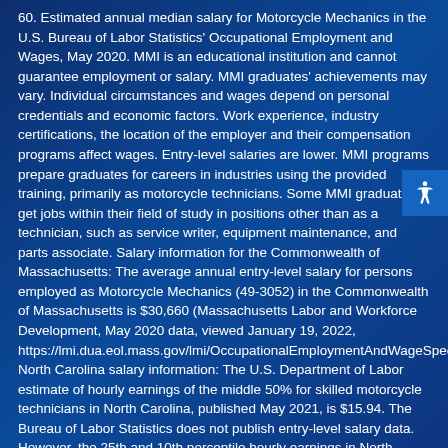60. Estimated annual median salary for Motorcycle Mechanics in the U.S. Bureau of Labor Statistics' Occupational Employment and Wages, May 2020. MMI is an educational institution and cannot guarantee employment or salary. MMI graduates' achievements may vary. Individual circumstances and wages depend on personal credentials and economic factors. Work experience, industry certifications, the location of the employer and their compensation programs affect wages. Entry-level salaries are lower. MMI programs prepare graduates for careers in industries using the provided training, primarily as motorcycle technicians. Some MMI graduates get jobs within their field of study in positions other than as a technician, such as service writer, equipment maintenance, and parts associate. Salary information for the Commonwealth of Massachusetts: The average annual entry-level salary for persons employed as Motorcycle Mechanics (49-3052) in the Commonwealth of Massachusetts is $30,660 (Massachusetts Labor and Workforce Development, May 2020 data, viewed January 19, 2022, https://lmi.dua.eol.mass.gov/lmi/OccupationalEmploymentAndWageSpecificOccupations#). North Carolina salary information: The U.S. Department of Labor estimate of hourly earnings of the middle 50% for skilled motorcycle technicians in North Carolina, published May 2021, is $15.94. The Bureau of Labor Statistics does not publish entry-level salary data. However, the 25th and 10th percentile hourly earnings in North Carolina are $13.31 and...